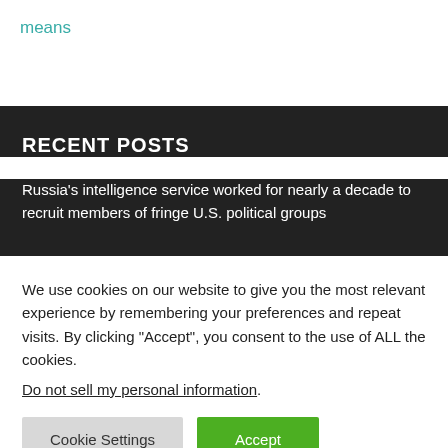means
RECENT POSTS
Russia's intelligence service worked for nearly a decade to recruit members of fringe U.S. political groups
We use cookies on our website to give you the most relevant experience by remembering your preferences and repeat visits. By clicking “Accept”, you consent to the use of ALL the cookies.
Do not sell my personal information.